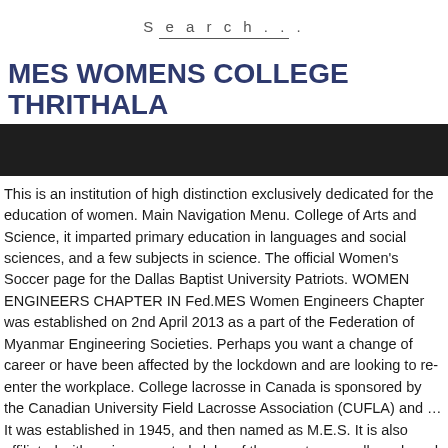Search...
MES WOMENS COLLEGE THRITHALA
[Figure (photo): Dark banner image below the title heading]
This is an institution of high distinction exclusively dedicated for the education of women. Main Navigation Menu. College of Arts and Science, it imparted primary education in languages and social sciences, and a few subjects in science. The official Women's Soccer page for the Dallas Baptist University Patriots. WOMEN ENGINEERS CHAPTER IN Fed.MES Women Engineers Chapter was established on 2nd April 2013 as a part of the Federation of Myanmar Engineering Societies. Perhaps you want a change of career or have been affected by the lockdown and are looking to re-enter the workplace. College lacrosse in Canada is sponsored by the Canadian University Field Lacrosse Association (CUFLA) and … It was established in 1945, and then named as M.E.S. It is also affiliated with various reputed clubs of the country as well as abroad. The Working Men's College (also known as the St Pancras Working Men's College or WMC, The Camden